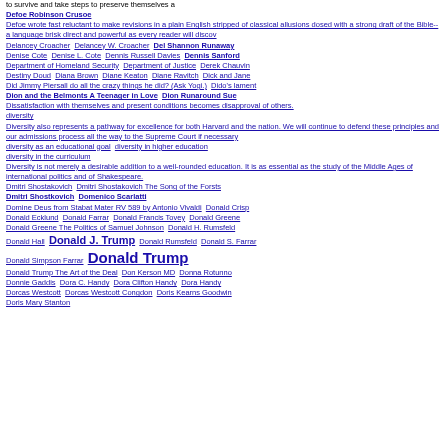to survive and take steps to preserve themselves a
Defoe Robinson Crusoe
Defoe wrote fast reluctant to make revisions in a plain English stripped of classical allusions dosed with a strong draft of the Bible--a language brisk direct and powerful as every reader will discov
Delancey Croacher  Delancey W. Croacher  Del Shannon Runaway
Denise Cote  Denise L. Cote  Dennis Russell Davies  Dennis Sanford
Department of Homeland Security  Department of Justice  Derek Chauvin
Destiny Doud  Diana Brown  Diane Keaton  Diane Ravitch  Dick and Jane
Did Jimmy Piersall do all the crazy things he did? (Ask Yogi.)  Dido's lament
Dion and the Belmonts A Teenager in Love  Dion Runaround Sue
Dissatisfaction with themselves and present conditions becomes disapproval of others.
diversity
Diversity also represents a pathway for excellence for both Harvard and the nation. We will continue to defend these principles and our admissions process all the way to the Supreme Court if necessary
diversity as an educational goal  diversity in higher education
diversity in the curriculum
Diversity is not merely a desirable addition to a well-rounded education. It is as essential as the study of the Middle Ages of international politics and of Shakespeare.
Dmitri Shostakovich  Dmitri Shostakovich The Song of the Forsts
Dmitri Shostkovich  Domenico Scarlatti
Domine Deus from Stabat Mater RV 589 by Antonio Vivaldi  Donald Crisp
Donald Ecklund  Donald Farrar  Donald Francis Tovey  Donald Greene
Donald Greene The Politics of Samuel Johnson  Donald H. Rumsfeld
Donald Hall  Donald J. Trump  Donald Rumsfeld  Donald S. Farrar
Donald Simpson Farrar  Donald Trump
Donald Trump The Art of the Deal  Don Kerson MD  Donna Rotunno
Donnie Gaddis  Dora C. Handy  Dora Clifton Handy  Dora Handy
Dorcas Westcott  Dorcas Westcott Congdon  Doris Kearns Goodwin
Doris Mary Stanton